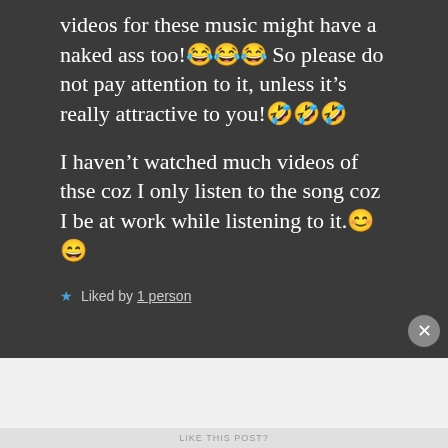videos for these music might have a naked ass too!😂😂😂 So please do not pay attention to it, unless it's really attractive to you!🤣🤣🤣
I haven't watched much videos of thse coz I only listen to the song coz I be at work while listening to it.😊😄
★ Liked by 1 person
Advertisements
[Figure (screenshot): WordPress VIP advertisement banner with logos of slack, Facebook and a Learn more button]
LIKE THIS POST?